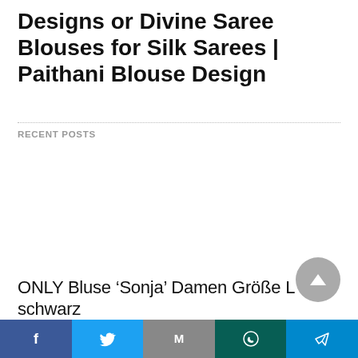Designs or Divine Saree Blouses for Silk Sarees | Paithani Blouse Design
RECENT POSTS
ONLY Bluse ‘Sonja’ Damen Größe L schwarz
Share bar: Facebook, Twitter, Gmail, WhatsApp, Telegram